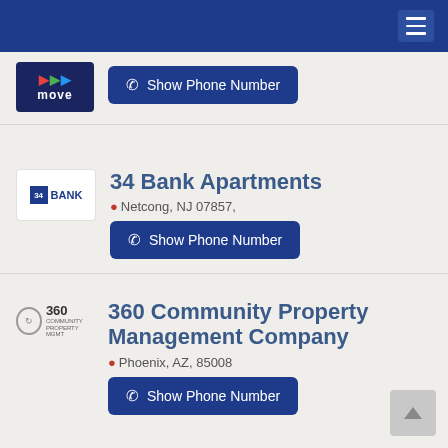Navigation header with hamburger menu
[Figure (logo): 333move logo - dark blue background with colored arrows and 'move' text]
Show Phone Number
34 Bank Apartments
Netcong, NJ 07857,
Show Phone Number
360 Community Property Management Company
Phoenix, AZ, 85008
Show Phone Number